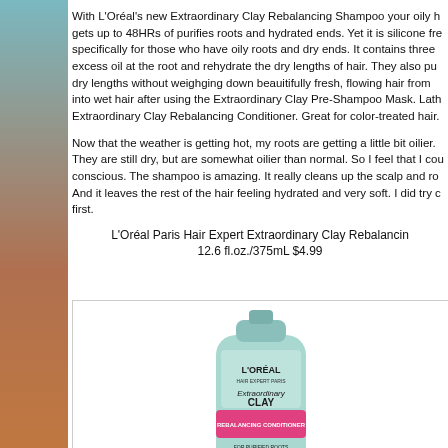With L'Oréal's new Extraordinary Clay Rebalancing Shampoo your oily h gets up to 48HRs of purifies roots and hydrated ends. Yet it is silicone fre specifically for those who have oily roots and dry ends. It contains three excess oil at the root and rehydrate the dry lengths of hair. They also pu dry lengths without weighging down beauitifully fresh, flowing hair from into wet hair after using the Extraordinary Clay Pre-Shampoo Mask. Lath Extraordinary Clay Rebalancing Conditioner. Great for color-treated hair.
Now that the weather is getting hot, my roots are getting a little bit oilier. They are still dry, but are somewhat oilier than normal. So I feel that I cou conscious. The shampoo is amazing. It really cleans up the scalp and ro And it leaves the rest of the hair feeling hydrated and very soft. I did try c first.
L'Oréal Paris Hair Expert Extraordinary Clay Rebalancin 12.6 fl.oz./375mL $4.99
[Figure (photo): L'Oréal Extraordinary Clay Rebalancing Conditioner bottle, mint green color with pink label band]